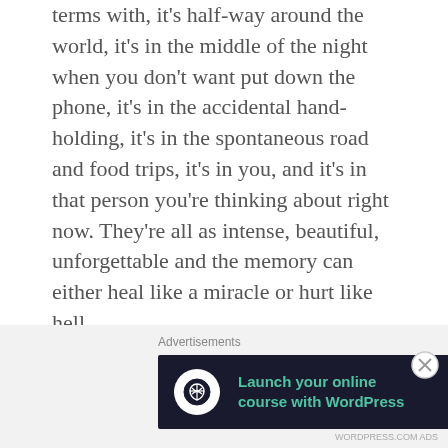terms with, it's half-way around the world, it's in the middle of the night when you don't want put down the phone, it's in the accidental hand-holding, it's in the spontaneous road and food trips, it's in you, and it's in that person you're thinking about right now. They're all as intense, beautiful, unforgettable and the memory can either heal like a miracle or hurt like hell.
Isn't that how the world works? We're supposed to be feeling the downs to appreciate the ups.
[Figure (other): Advertisement banner: 'Launch your online course with WordPress' with Learn More button on dark background, preceded by 'Advertisements' label.]